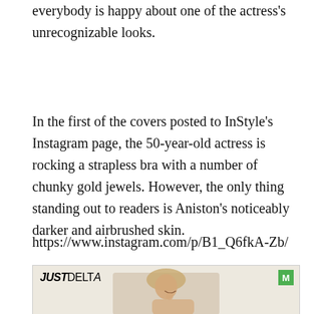everybody is happy about one of the actress's unrecognizable looks.
In the first of the covers posted to InStyle's Instagram page, the 50-year-old actress is rocking a strapless bra with a number of chunky gold jewels. However, the only thing standing out to readers is Aniston's noticeably darker and airbrushed skin.
https://www.instagram.com/p/B1_Q6fkA-Zb/
[Figure (photo): Advertisement image showing a woman with blonde hair smiling, with JUSTDELTA logo on the left and a green M badge on the upper right, set against a light beige background.]